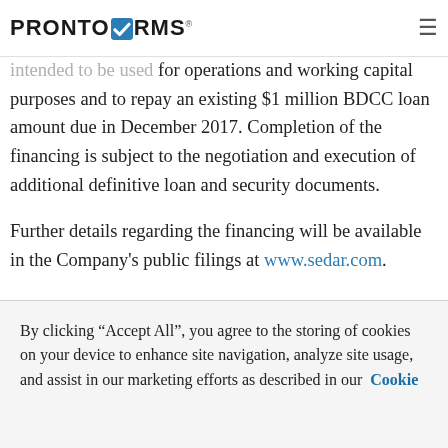PRONTOFORMS (logo with hamburger menu)
The Company's subsidiaries will act as guarantors of the Company's obligations pursuant to the BDCC credit facility. The net proceeds from the credit facility are intended to be used for operations and working capital purposes and to repay an existing $1 million BDCC loan amount due in December 2017. Completion of the financing is subject to the negotiation and execution of additional definitive loan and security documents.
Further details regarding the financing will be available in the Company's public filings at www.sedar.com.
About ProntoForms Corporation
ProntoForms is a mobile workflow platform used by
By clicking “Accept All”, you agree to the storing of cookies on your device to enhance site navigation, analyze site usage, and assist in our marketing efforts as described in our  Cookie